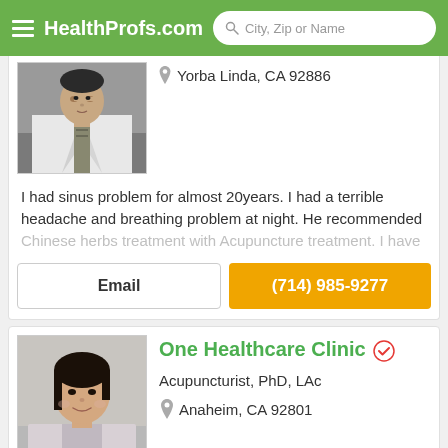HealthProfs.com | City, Zip or Name
Yorba Linda, CA 92886
[Figure (photo): Doctor in white coat with striped tie, headshot]
I had sinus problem for almost 20years. I had a terrible headache and breathing problem at night. He recommended Chinese herbs treatment with Acupuncture treatment. I have
Email
(714) 985-9277
One Healthcare Clinic
Acupuncturist, PhD, LAc
Anaheim, CA 92801
[Figure (photo): Female healthcare professional smiling, wearing light jacket]